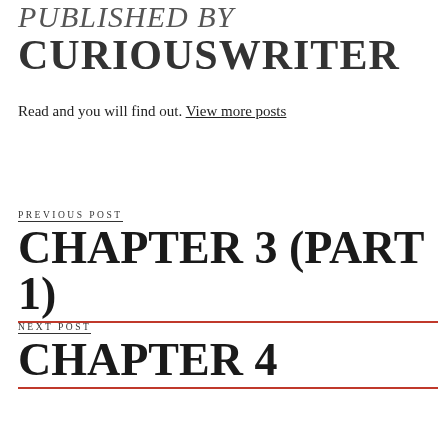PUBLISHED BY CURIOUSWRITER
Read and you will find out. View more posts
PREVIOUS POST
CHAPTER 3 (PART 1)
NEXT POST
CHAPTER 4